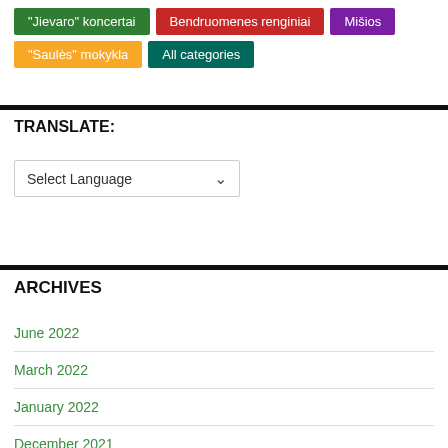"Jievaro" koncertai
Bendruomenes renginiai
Mišios
"Saulės" mokykla
All categories
TRANSLATE:
Select Language
ARCHIVES
June 2022
March 2022
January 2022
December 2021